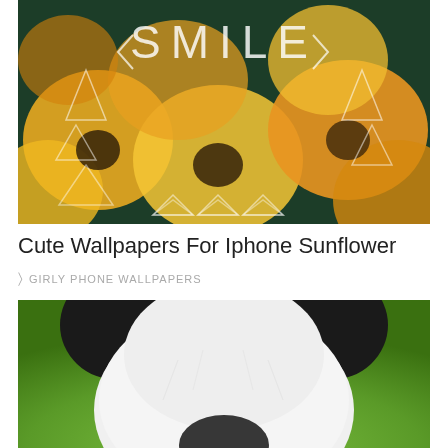[Figure (photo): Sunflower wallpaper with SMILE text overlay in white letters and decorative white triangle geometric patterns on a dark floral background with yellow sunflowers]
Cute Wallpapers For Iphone Sunflower
GIRLY PHONE WALLPAPERS
[Figure (photo): Close-up photo of a panda bear face from top view on a green background, showing black ears, white fluffy fur, and black nose area]